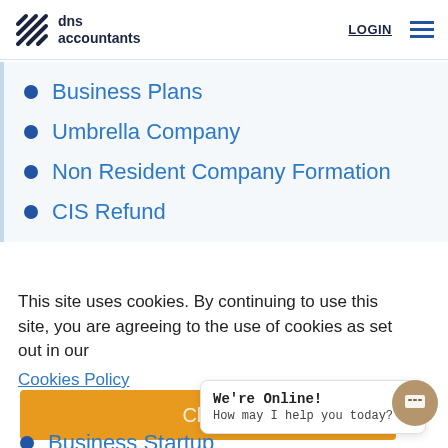dns accountants | LOGIN
Business Plans
Umbrella Company
Non Resident Company Formation
CIS Refund
This site uses cookies. By continuing to use this site, you are agreeing to the use of cookies as set out in our Cookies Policy
Business Startup